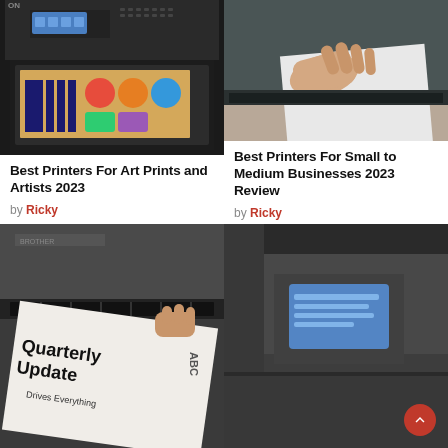[Figure (photo): Epson printer with colorful ink cartridges and printed sheets visible in output tray]
Best Printers For Art Prints and Artists 2023
by Ricky
[Figure (photo): Hand feeding paper into a laser printer or scanner from above]
Best Printers For Small to Medium Businesses 2023 Review
by Ricky
[Figure (photo): A large format printer feeding a newspaper-style printout with text 'Quarterly Update' and 'Drives Everything']
[Figure (photo): Close-up of a printer control panel with a small blue LCD screen]